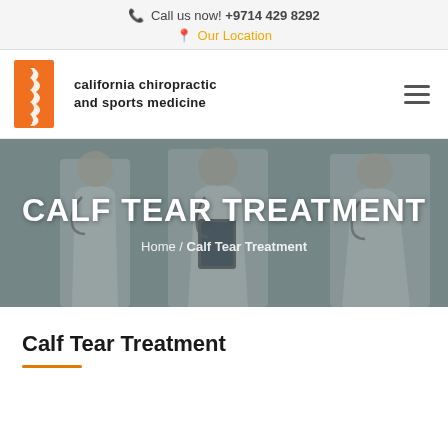Call us now! +9714 429 8292
Our Location
[Figure (logo): California Chiropractic and Sports Medicine logo with orange spine graphic]
[Figure (photo): Hero banner with medical professionals in white coats with stethoscopes, overlaid with text CALF TEAR TREATMENT and breadcrumb Home / Calf Tear Treatment]
Calf Tear Treatment